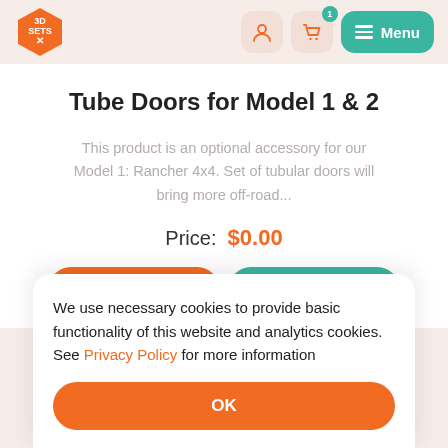[Figure (logo): 3D SETS X orange logo mark]
Tube Doors for Model 1 & 2
This product is an optional accessory for our Model 1: Rancher 4x4. Set of tubular doors will bring more off-road...
Price: $0.00
We use necessary cookies to provide basic functionality of this website and analytics cookies. See Privacy Policy for more information